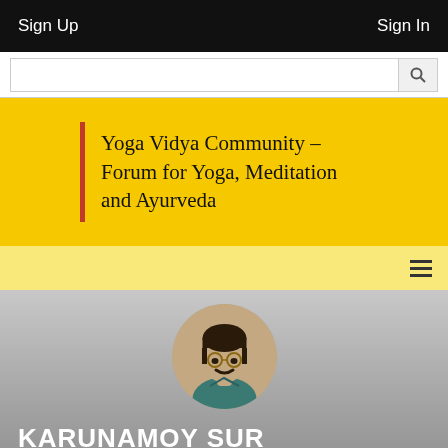Sign Up    Sign In
[Figure (screenshot): Search bar with magnifying glass icon]
Yoga Vidya Community – Forum for Yoga, Meditation and Ayurveda
[Figure (screenshot): Navigation strip with hamburger menu icon]
[Figure (photo): Circular profile photo of Karunamoy Sur, a man wearing glasses and a teal shirt]
KARUNAMOY SUR
Kolkata, West Bengal · Male